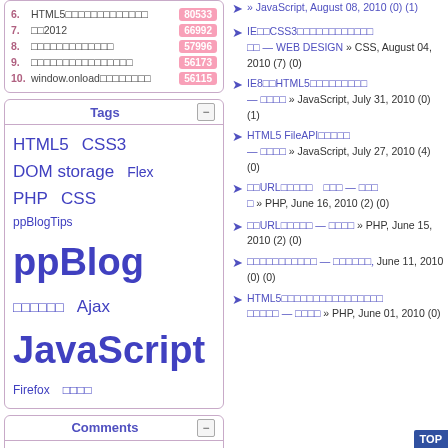6. HTML5□□□□□□□□□□□□□ 80533
7. □□2012 66992
8. □□□□□□□□□□□□□ 57996
9. □□□□□□□□□□□□□□□□ 56173
10. window.onload□□□□□□□□ 56115
Tags
HTML5  CSS3  DOM storage  Flex  PHP  CSS  ppBlogTips  ppBlog  □□□□□□  Ajax  JavaScript  Firefox  □□□□
Comments
◈ □□2012
» JavaScript, August 08, 2010 (0) (1)
IE□□CSS3□□□□□□□□□□□□ □□ — WEB DESIGN » CSS, August 04, 2010 (7) (0)
IE8□□HTML5□□□□□□□□□ — □□□□ » JavaScript, July 31, 2010 (0) (1)
HTML5 FileAPI□□□□□ — □□□□ » JavaScript, July 27, 2010 (4) (0)
□□URL□□□□□  □□□ — □□□□ » PHP, June 16, 2010 (2) (0)
□□URL□□□□□ — □□□□ » PHP, June 15, 2010 (2) (0)
□□□□□□□□□□□ — □□□□□□, June 11, 2010 (0) (0)
HTML5□□□□□□□□□□□□□□□□ □□□□□ — □□□□ » PHP, June 01, 2010 (0) (1)